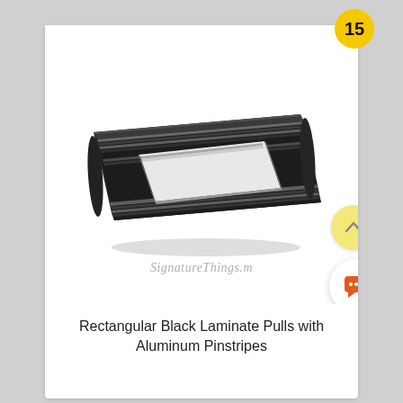[Figure (photo): A rectangular black laminate cabinet pull with aluminum pinstripes, viewed at a slight angle showing the handle's elongated rectangular cutout and layered striped edges.]
Rectangular Black Laminate Pulls with Aluminum Pinstripes